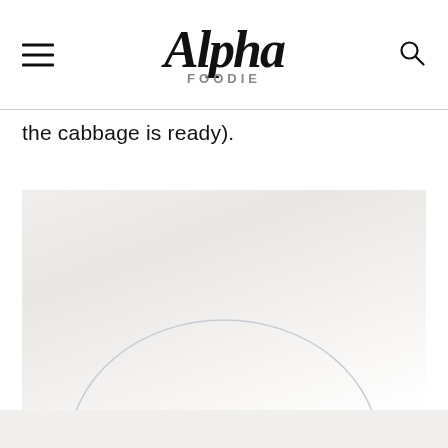Alpha Foodie
the cabbage is ready).
[Figure (photo): Close-up photo of a glass bowl or plate viewed from above on a light background, showing just the upper arc of the bowl rim against a pale, almost white surface.]